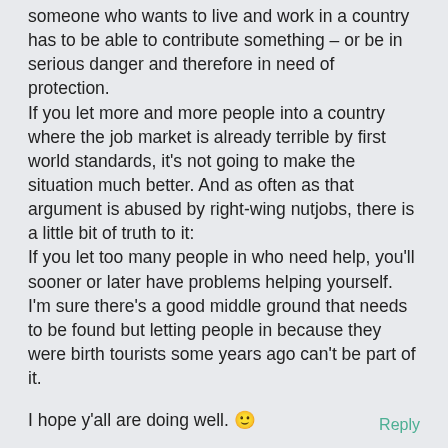someone who wants to live and work in a country has to be able to contribute something – or be in serious danger and therefore in need of protection.
If you let more and more people into a country where the job market is already terrible by first world standards, it's not going to make the situation much better. And as often as that argument is abused by right-wing nutjobs, there is a little bit of truth to it:
If you let too many people in who need help, you'll sooner or later have problems helping yourself. I'm sure there's a good middle ground that needs to be found but letting people in because they were birth tourists some years ago can't be part of it.

I hope y'all are doing well. 🙂
Reply